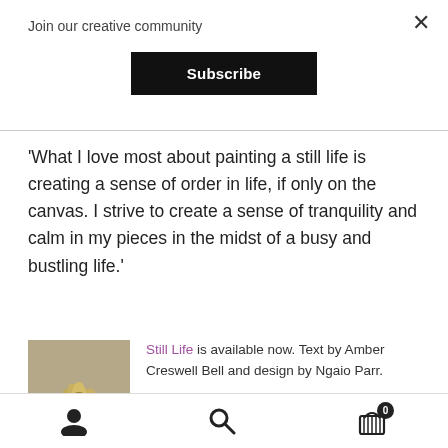Join our creative community
Subscribe
'What I love most about painting a still life is creating a sense of order in life, if only on the canvas. I strive to create a sense of tranquility and calm in my pieces in the midst of a busy and bustling life.'
Still Life is available now. Text by Amber Creswell Bell and design by Ngaio Parr.
[Figure (photo): Book cover image with yellow flower on grey/beige background]
Front cover: Tsering Hannaford, Yellow
user icon | search icon | cart icon with badge 0